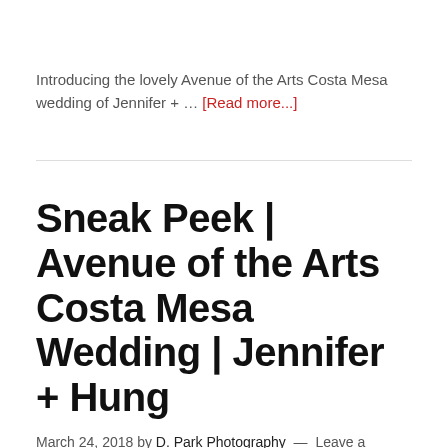Introducing the lovely Avenue of the Arts Costa Mesa wedding of Jennifer + … [Read more...]
Sneak Peek | Avenue of the Arts Costa Mesa Wedding | Jennifer + Hung
March 24, 2018 by D. Park Photography — Leave a Comment